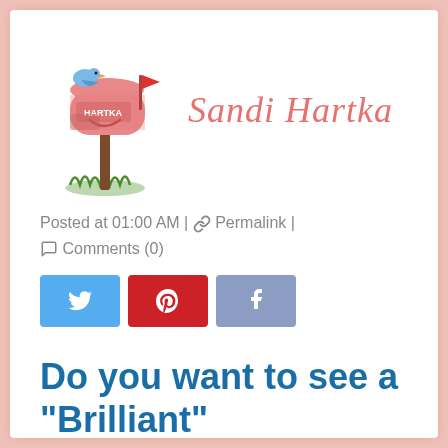[Figure (logo): Sandi Hartka blog logo: illustrated pink mailbox with 'HARTKA' label, blue bird on top, red flag, brown post, green grass, with cursive pink 'Sandi Hartka' text beside it]
Posted at 01:00 AM | 🔗 Permalink | 💬 Comments (0)
[Figure (infographic): Three social media share buttons: Twitter (blue bird icon), Pinterest (red P icon), Facebook (muted blue f icon)]
Do you want to see a "Brilliant" Kaleidoscope?